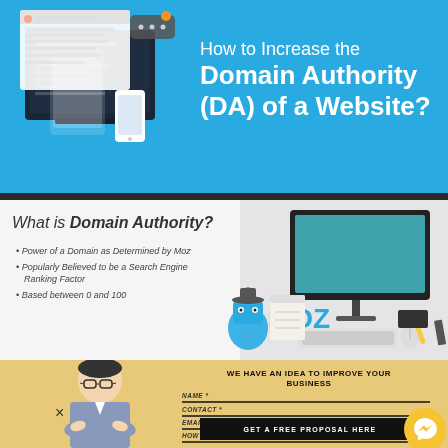[Figure (illustration): Blue banner with device illustrations (laptop, tablet, phone) on the left, and text on the right reading 'How to Increase the Domain Authority (DA) of a Website?']
How to Increase the Domain Authority (DA) of a Website?
[Figure (infographic): Middle section showing 'What is Domain Authority?' with bullet points and a Moz robot logo, alongside a desk setup illustration with computer monitor]
Power of a Domain as Determined by Moz
Popularly Believed to be a Search Engine Ranking Factor
Based between 0 and 100
[Figure (illustration): Bottom beige/tan section with a person (man with glasses, arms crossed) on the left, and a contact form on the right with fields for Name, Contact, Email, How Can We Help, and a 'Get a Free Proposal Here' button. Messenger icon in bottom right.]
WE HAVE AN IDEA TO IMPROVE YOUR BUSINESS
NAME *
CONTACT *
EMAIL *
HOW CAN WE HELP (?) *
GET A FREE PROPOSAL HERE